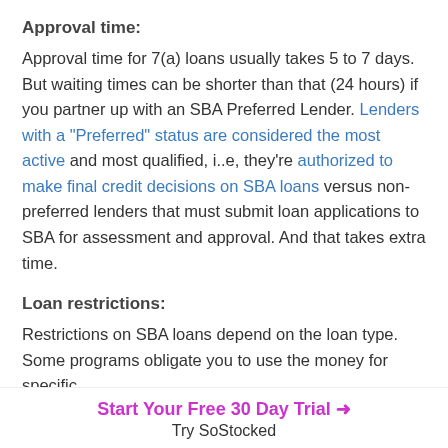Approval time:
Approval time for 7(a) loans usually takes 5 to 7 days. But waiting times can be shorter than that (24 hours) if you partner up with an SBA Preferred Lender. Lenders with a “Preferred” status are considered the most active and most qualified, i..e, they’re authorized to make final credit decisions on SBA loans versus non-preferred lenders that must submit loan applications to SBA for assessment and approval. And that takes extra time.
Loan restrictions:
Restrictions on SBA loans depend on the loan type. Some programs obligate you to use the money for specific
Start Your Free 30 Day Trial →
Try SoStocked